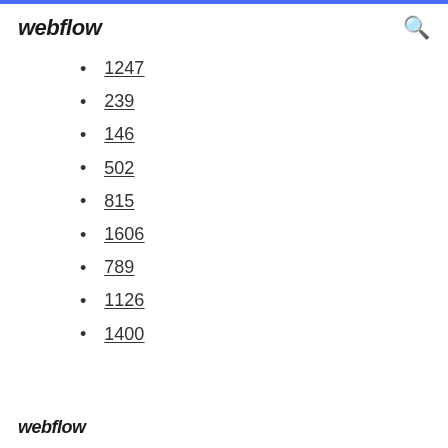webflow
1247
239
146
502
815
1606
789
1126
1400
webflow